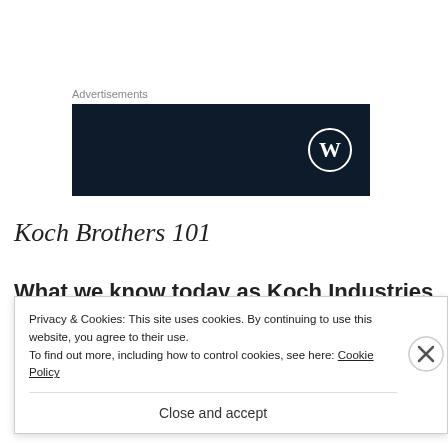Advertisements
[Figure (logo): WordPress logo (white W in circle) on dark navy background, advertisement placeholder]
Koch Brothers 101
What we know today as Koch Industries was originally founded as an oil refinery in Wichita
Privacy & Cookies: This site uses cookies. By continuing to use this website, you agree to their use.
To find out more, including how to control cookies, see here: Cookie Policy
Close and accept